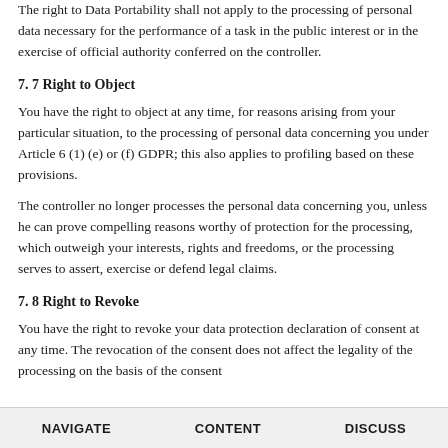The right to Data Portability shall not apply to the processing of personal data necessary for the performance of a task in the public interest or in the exercise of official authority conferred on the controller.
7. 7 Right to Object
You have the right to object at any time, for reasons arising from your particular situation, to the processing of personal data concerning you under Article 6 (1) (e) or (f) GDPR; this also applies to profiling based on these provisions.
The controller no longer processes the personal data concerning you, unless he can prove compelling reasons worthy of protection for the processing, which outweigh your interests, rights and freedoms, or the processing serves to assert, exercise or defend legal claims.
7. 8 Right to Revoke
You have the right to revoke your data protection declaration of consent at any time. The revocation of the consent does not affect the legality of the processing on the basis of the consent
NAVIGATE   CONTENT   DISCUSS